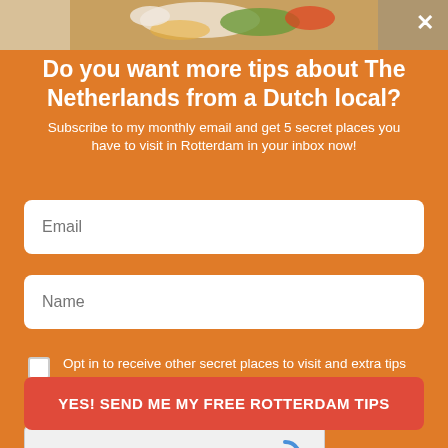[Figure (photo): Food photo strip at the top showing a dish with vegetables on a green leaf, possibly Asian food]
Do you want more tips about The Netherlands from a Dutch local?
Subscribe to my monthly email and get 5 secret places you have to visit in Rotterdam in your inbox now!
Email (input field placeholder)
Name (input field placeholder)
Opt in to receive other secret places to visit and extra tips about The Netherlands
[Figure (screenshot): reCAPTCHA widget with 'I'm not a robot' checkbox, reCAPTCHA logo, Privacy and Terms links]
YES! SEND ME MY FREE ROTTERDAM TIPS